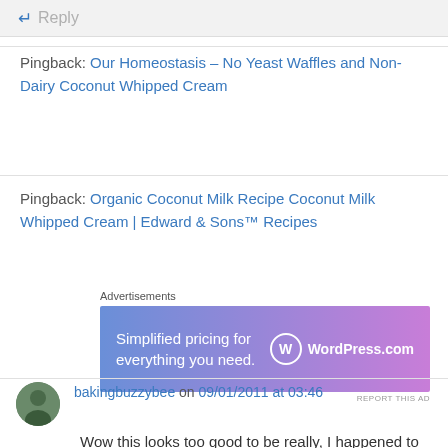← Reply
Pingback: Our Homeostasis – No Yeast Waffles and Non-Dairy Coconut Whipped Cream
Pingback: Organic Coconut Milk Recipe Coconut Milk Whipped Cream | Edward & Sons™ Recipes
[Figure (other): WordPress.com advertisement banner: 'Simplified pricing for everything you need.']
bakingbuzzybee on 09/01/2011 at 03:46
Wow this looks too good to be really, I happened to have some dairy, gluten and processed sugar free people coming over this week so this may